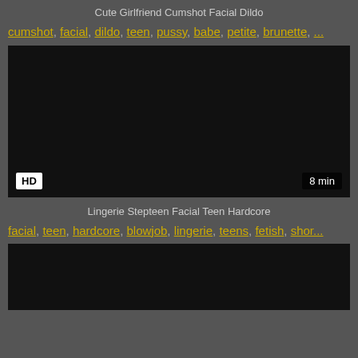Cute Girlfriend Cumshot Facial Dildo
cumshot, facial, dildo, teen, pussy, babe, petite, brunette, ...
[Figure (screenshot): Dark video thumbnail with HD badge bottom-left and '8 min' badge bottom-right]
Lingerie Stepteen Facial Teen Hardcore
facial, teen, hardcore, blowjob, lingerie, teens, fetish, shor...
[Figure (screenshot): Dark video thumbnail, partially visible]